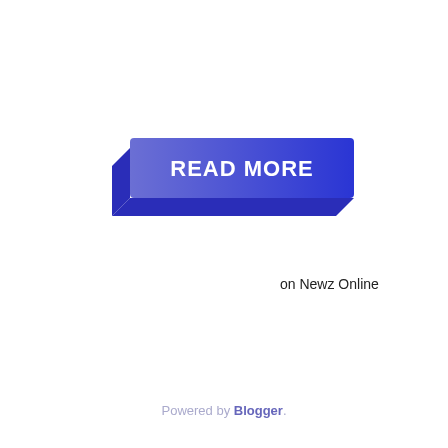[Figure (other): A 3D-style button with blue gradient reading READ MORE, with a darker blue shadow/depth effect on the left and bottom sides]
on Newz Online
Powered by Blogger.